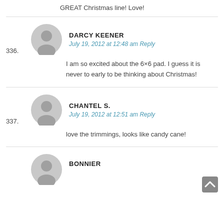GREAT Christmas line! Love!
DARCY KEENER
July 19, 2012 at 12:48 am Reply
336.
I am so excited about the 6×6 pad. I guess it is never to early to be thinking about Christmas!
CHANTEL S.
July 19, 2012 at 12:51 am Reply
337.
love the trimmings, looks like candy cane!
BONNIER